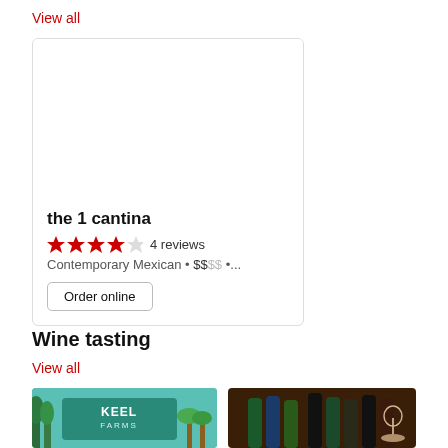View all
the 1 cantina
4 reviews
Contemporary Mexican • $$$$ •...
Order online
Wine tasting
View all
[Figure (photo): Keel Farms sign with palm trees and blue sky]
[Figure (photo): Wine bottles on a dark wooden bar]